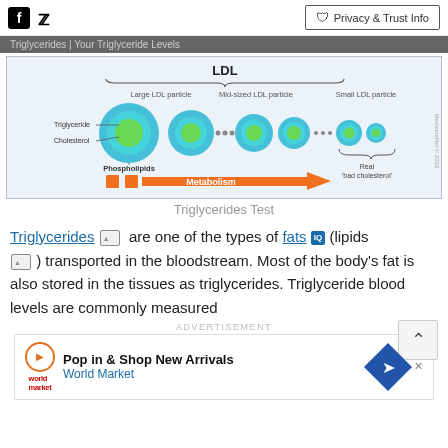Social icons (Facebook, Twitter) | Privacy & Trust Info
Triglycerides | Your Triglyceride Levels
[Figure (infographic): Infographic showing LDL particle sizes from large to small, with labels: Large LDL particle, Mid-sized LDL particle, Small LDL particle. Each particle shows Triglyceride, Cholesterol, Phospholipids components. An orange arrow labeled Metabolism points right, ending at 'Real bad cholesterol'. MedicineNet © 2019.]
Triglycerides Test
Triglycerides [image] are one of the types of fats IQ (lipids [image]) transported in the bloodstream. Most of the body's fat is also stored in the tissues as triglycerides. Triglyceride blood levels are commonly measured
ADVERTISEMENT
[Figure (other): Advertisement: Pop in & Shop New Arrivals - World Market, with play button logo and blue diamond arrow icon]